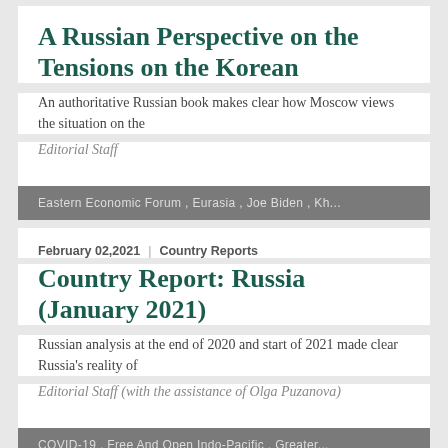A Russian Perspective on the Tensions on the Korean
An authoritative Russian book makes clear how Moscow views the situation on the
Editorial Staff
Eastern Economic Forum , Eurasia , Joe Biden , Kh...
February 02,2021  |  Country Reports
Country Report: Russia (January 2021)
Russian analysis at the end of 2020 and start of 2021 made clear Russia’s reality of
Editorial Staff (with the assistance of Olga Puzanova)
COVID-19 , Free And Open Indo-Pacific , Greater...
December 28,2020  |  Country Reports
Country Report: Chi...